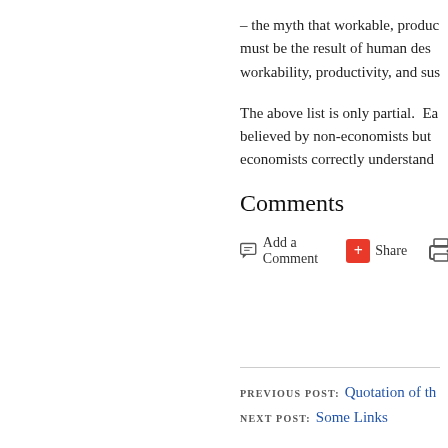– the myth that workable, productivity must be the result of human design; workability, productivity, and sustainability
The above list is only partial.  Each believed by non-economists but economists correctly understand
Comments
Add a Comment   Share
PREVIOUS POST: Quotation of th
NEXT POST: Some Links